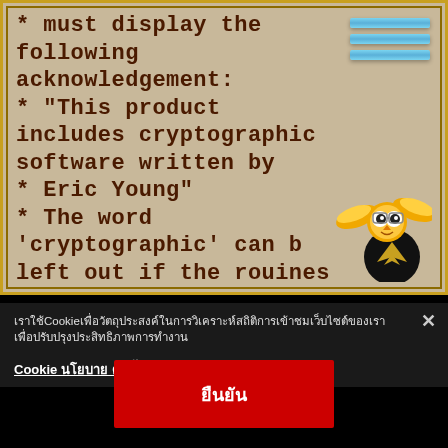* must display the following acknowledgement:
* "This product includes cryptographic software written by
* Eric Young"
* The word 'cryptographic' can be left out if the rouines from the library
เราใช้ Cookie เพื่อวัตถุประสงค์ในการวิเคราะห์สถิติการเข้าชมเว็บไซต์ของเรา เพื่อปรับปรุงประสิทธิภาพการทำงาน
Cookie นโยบาย คุกกี้
ยืนยัน